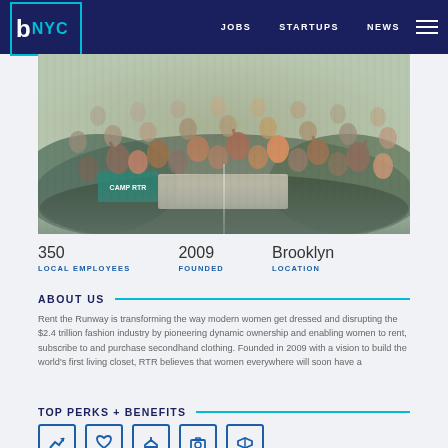b NYC | JOBS | STARTUPS | NEWS
[Figure (photo): Large group photo of people gathered outdoors, holding banners including one that reads CAMP RTR, crowd photo at what appears to be a company event.]
350
LOCAL EMPLOYEES
2009
FOUNDED
Brooklyn
LOCATION
ABOUT US
Rent the Runway is transforming the way modern women get dressed and disrupting the $2.4 trillion fashion industry by pioneering dynamic ownership and enabling women to rent, subscribe to and purchase secondhand clothing. Founded in 2009 with a vision to build the world's first living closet, RTR believes that women everywhere will soon have a
TOP PERKS + BENEFITS
[Figure (illustration): Row of 5 icon boxes with blue borders illustrating various employee perks and benefits]